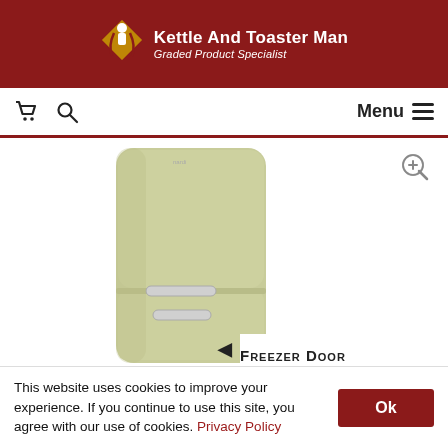Kettle And Toaster Man — Graded Product Specialist
[Figure (screenshot): Retro-style pale green fridge-freezer (bottom freezer) on white background]
Freezer Door
This website uses cookies to improve your experience. If you continue to use this site, you agree with our use of cookies. Privacy Policy